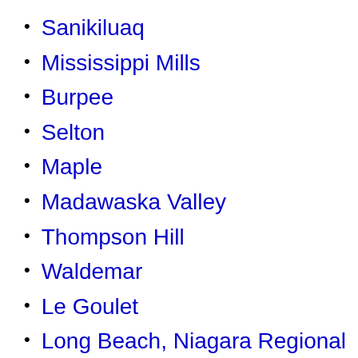Sanikiluaq
Mississippi Mills
Burpee
Selton
Maple
Madawaska Valley
Thompson Hill
Waldemar
Le Goulet
Long Beach, Niagara Regional Municipality